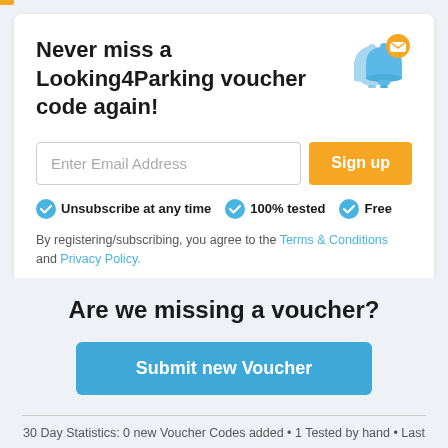Never miss a Looking4Parking voucher code again!
Enter Email Address
Sign up
Unsubscribe at any time · 100% tested · Free
By registering/subscribing, you agree to the Terms & Conditions and Privacy Policy.
Are we missing a voucher?
Submit new Voucher
30 Day Statistics: 0 new Voucher Codes added • 1 Tested by hand • Last